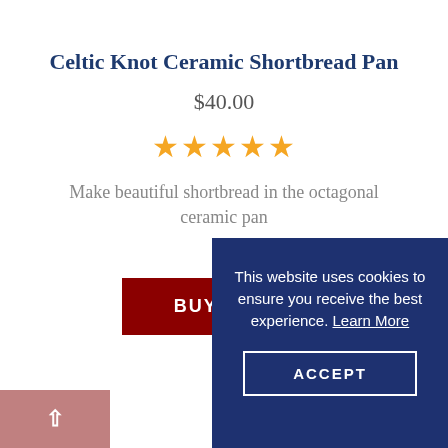Celtic Knot Ceramic Shortbread Pan
$40.00
[Figure (other): Five gold star rating icons]
Make beautiful shortbread in the octagonal ceramic pan
BUY NOW
This website uses cookies to ensure you receive the best experience. Learn More
ACCEPT